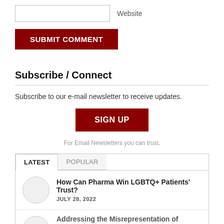[Figure (other): Website text input field with label 'Website']
[Figure (other): Dark red 'SUBMIT COMMENT' button]
Subscribe / Connect
Subscribe to our e-mail newsletter to receive updates.
[Figure (other): Dark red 'SIGN UP' button centered]
For Email Newsletters you can trust.
[Figure (other): Tabs: LATEST (active) and POPULAR]
How Can Pharma Win LGBTQ+ Patients' Trust?
JULY 28, 2022
Addressing the Misrepresentation of Patients in